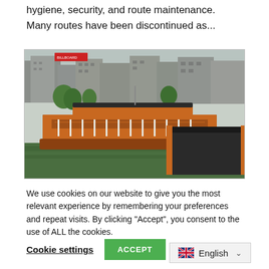hygiene, security, and route maintenance. Many routes have been discontinued as...
[Figure (photo): Aerial view of large orange river ferries/boats docked on a green waterway, with a densely built urban city skyline in the background. The boats appear to be multi-deck passenger ferries typical of Bangladesh.]
We use cookies on our website to give you the most relevant experience by remembering your preferences and repeat visits. By clicking "Accept", you consent to the use of ALL the cookies.
Cookie settings | ACCEPT
English